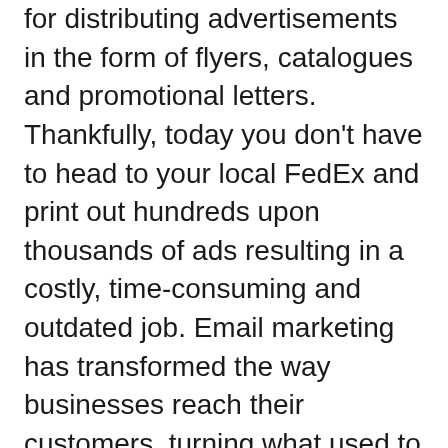for distributing advertisements in the form of flyers, catalogues and promotional letters. Thankfully, today you don't have to head to your local FedEx and print out hundreds upon thousands of ads resulting in a costly, time-consuming and outdated job. Email marketing has transformed the way businesses reach their customers, turning what used to be a distribution headache into a swift click of a button.
But to really appreciate everything it has to offer, we need to dive deep into the history of email marketing and how it transformed into what it is today.